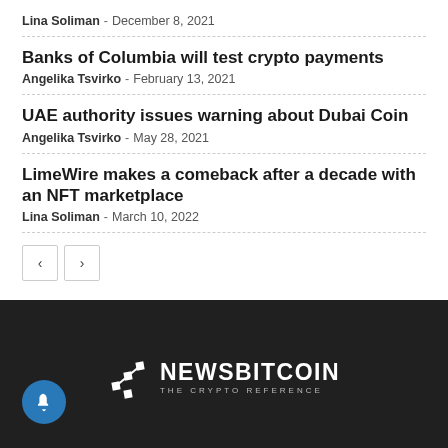Lina Soliman - December 8, 2021
Banks of Columbia will test crypto payments
Angelika Tsvirko - February 13, 2021
UAE authority issues warning about Dubai Coin
Angelika Tsvirko - May 28, 2021
LimeWire makes a comeback after a decade with an NFT marketplace
Lina Soliman - March 10, 2022
[Figure (other): Dark footer section with NewsBitcoin logo and notification bell icon]
NEWSBITCOIN THE CRYPTO REFERENCE